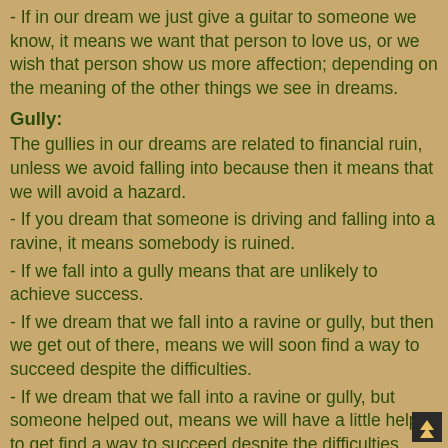- If in our dream we just give a guitar to someone we know, it means we want that person to love us, or we wish that person show us more affection; depending on the meaning of the other things we see in dreams.
Gully:
The gullies in our dreams are related to financial ruin, unless we avoid falling into because then it means that we will avoid a hazard.
- If you dream that someone is driving and falling into a ravine, it means somebody is ruined.
- If we fall into a gully means that are unlikely to achieve success.
- If we dream that we fall into a ravine or gully, but then we get out of there, means we will soon find a way to succeed despite the difficulties.
- If we dream that we fall into a ravine or gully, but someone helped out, means we will have a little help to get find a way to succeed despite the difficulties.
- If we dream that we driving a car and collided with someone, and therefore, the other car fell into a ravine or gully, it means somebody is ruined by our cause.
- If we dream that we driving a car and fall into a gully, means financial ruin, but if we dream that another car hits us and so we fall into the ravine, means that there is a person that ma...